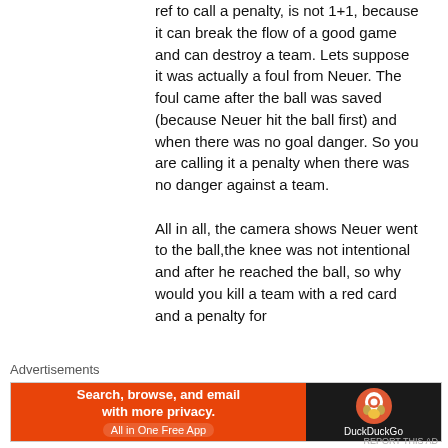ref to call a penalty, is not 1+1, because it can break the flow of a good game and can destroy a team. Lets suppose it was actually a foul from Neuer. The foul came after the ball was saved (because Neuer hit the ball first) and when there was no goal danger. So you are calling it a penalty when there was no danger against a team. All in all, the camera shows Neuer went to the ball,the knee was not intentional and after he reached the ball, so why would you kill a team with a red card and a penalty for
Advertisements
[Figure (other): DuckDuckGo advertisement banner: orange left side with text 'Search, browse, and email with more privacy. All in One Free App', dark right side with DuckDuckGo logo and name.]